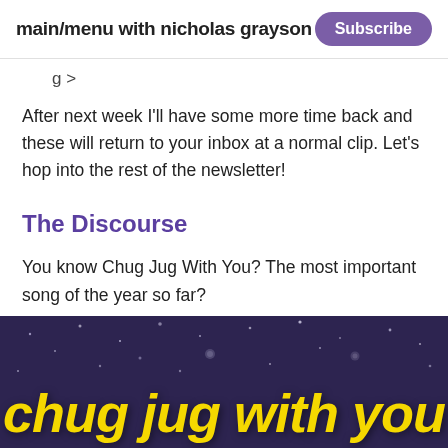main/menu with nicholas grayson
g >
After next week I'll have some more time back and these will return to your inbox at a normal clip. Let's hop into the rest of the newsletter!
The Discourse
You know Chug Jug With You? The most important song of the year so far?
[Figure (photo): Night sky image with stars and the text 'chug jug with you' in large yellow italic bold font at the bottom]